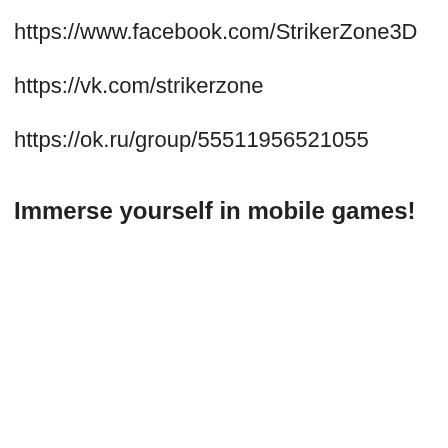https://www.facebook.com/StrikerZone3D
https://vk.com/strikerzone
https://ok.ru/group/55511956521055
Immerse yourself in mobile games!